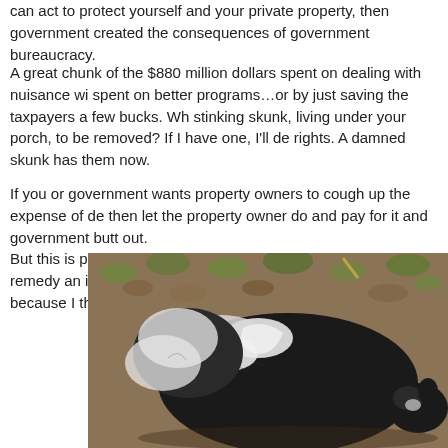can act to protect yourself and your private property, then government created the consequences of government bureaucracy.
A great chunk of the $880 million dollars spent on dealing with nuisance wi spent on better programs…or by just saving the taxpayers a few bucks. Wh stinking skunk, living under your porch, to be removed? If I have one, I'll de rights. A damned skunk has them now.
If you or government wants property owners to cough up the expense of de then let the property owner do and pay for it and government butt out.
But this is pipe-dreaming. It will never happen because the only remedy an is, "Where's my Government?" I'm the radical because I think the correct w
[Figure (photo): A black and white skunk photographed from above, lying on ground with leaves and green plants visible in the background.]